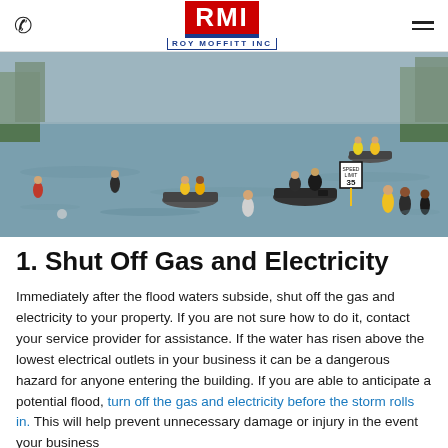RMI Roy Moffitt Inc — phone and menu navigation
[Figure (photo): Aerial view of flooded area with people wading through water and boats navigating floodwaters. A speed limit sign reading 35 is partially submerged. People in yellow, red, and other colored clothing are visible throughout the scene.]
1. Shut Off Gas and Electricity
Immediately after the flood waters subside, shut off the gas and electricity to your property. If you are not sure how to do it, contact your service provider for assistance. If the water has risen above the lowest electrical outlets in your business it can be a dangerous hazard for anyone entering the building. If you are able to anticipate a potential flood, turn off the gas and electricity before the storm rolls in. This will help prevent unnecessary damage or injury in the event your business